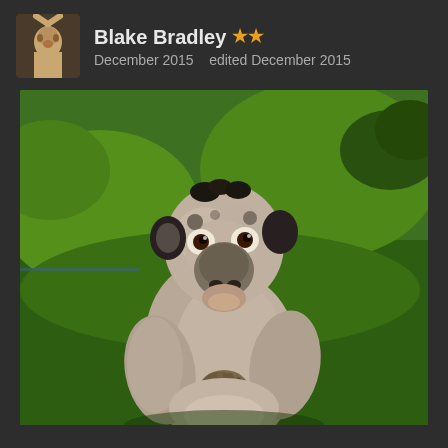Blake Bradley ★★ December 2015  edited December 2015
[Figure (photo): A hairless or nearly hairless baboon/primate sitting on grass, staring forward with dark eyes, holding something small to its mouth. The background is bright green grass with some foliage.]